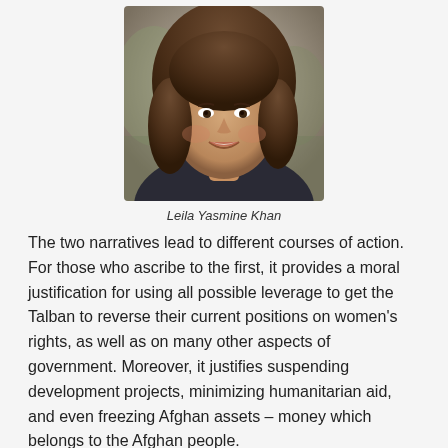[Figure (photo): Portrait photo of Leila Yasmine Khan, a woman with long wavy brown hair, smiling at the camera outdoors]
Leila Yasmine Khan
The two narratives lead to different courses of action. For those who ascribe to the first, it provides a moral justification for using all possible leverage to get the Talban to reverse their current positions on women's rights, as well as on many other aspects of government. Moreover, it justifies suspending development projects, minimizing humanitarian aid, and even freezing Afghan assets – money which belongs to the Afghan people.
For those to who the second narrative holds more appeal, the ceasing of conflict and the departure of the foreign